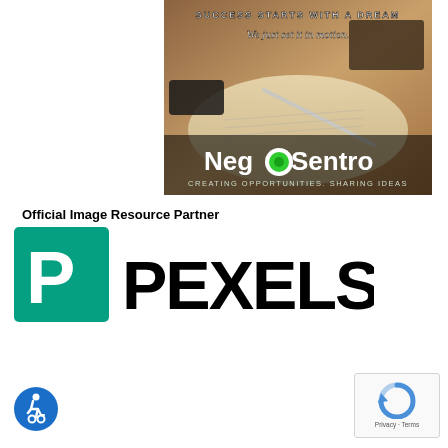[Figure (logo): NegoSentro branded image with text 'SUCCESS STARTS WITH A DREAM We just set it in motion.' overlaid on a photo of a desk with notebook, pen, phone, laptop. Logo reads 'NegoSentro' with a green dot in the O, and tagline 'CREATING OPPORTUNITIES. SHARING IDEAS']
Official Image Resource Partner
[Figure (logo): Pexels logo: teal/green square with white P letterform, followed by bold black PEXELS wordmark]
[Figure (other): Accessibility icon: blue circle with white wheelchair symbol]
[Figure (other): reCAPTCHA widget box with circular arrow logo and Privacy/Terms footer text]